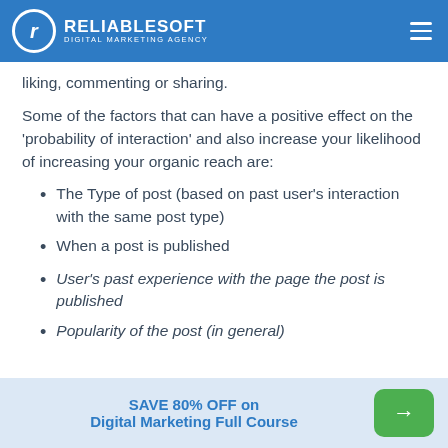RELIABLESOFT DIGITAL MARKETING AGENCY
liking, commenting or sharing.
Some of the factors that can have a positive effect on the 'probability of interaction' and also increase your likelihood of increasing your organic reach are:
The Type of post (based on past user's interaction with the same post type)
When a post is published
User's past experience with the page the post is published
Popularity of the post (in general)
SAVE 80% OFF on Digital Marketing Full Course